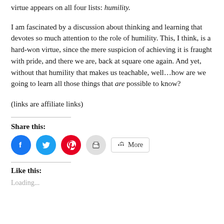virtue appears on all four lists: humility.
I am fascinated by a discussion about thinking and learning that devotes so much attention to the role of humility. This, I think, is a hard-won virtue, since the mere suspicion of achieving it is fraught with pride, and there we are, back at square one again. And yet, without that humility that makes us teachable, well...how are we going to learn all those things that are possible to know?
(links are affiliate links)
Share this:
[Figure (infographic): Social share buttons: Facebook (blue circle), Twitter (light blue circle), Pinterest (red circle), Print (grey circle), and More button with share icon]
Like this:
Loading...